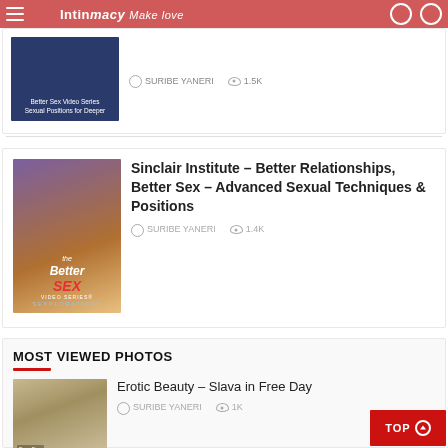Intimacy – Make love
Better Sex Video Series Sexual Positions for Deeper
SURIBE YANERI  1.5K
Sinclair Institute – Better Relationships, Better Sex – Advanced Sexual Techniques & Positions
SURIBE YANERI  1.4K
MOST VIEWED PHOTOS
Erotic Beauty – Slava in Free Day
SURIBE YANERI  1K